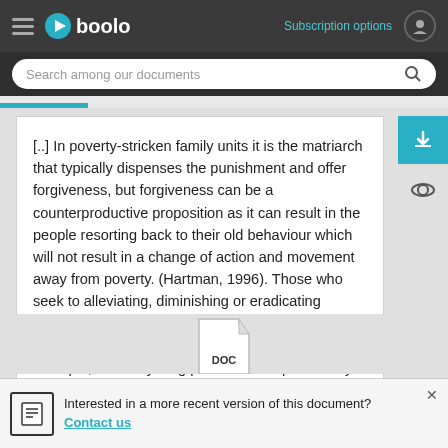Gboolo — Subscription options
[..] In poverty-stricken family units it is the matriarch that typically dispenses the punishment and offer forgiveness, but forgiveness can be a counterproductive proposition as it can result in the people resorting back to their old behaviour which will not result in a change of action and movement away from poverty. (Hartman, 1996). Those who seek to alleviating, diminishing or eradicating poverty ought to analyse how people behave and how this behaviour is related to poverty. For example, when a young person is disciplined they might laugh it off. [...]
[Figure (screenshot): DOC file icon (partial view at bottom of page)]
Interested in a more recent version of this document? Contact us